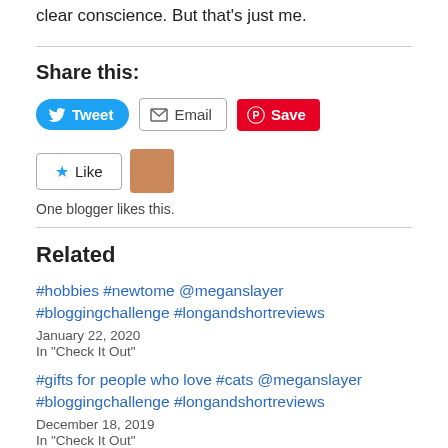clear conscience. But that's just me.
Share this:
[Figure (other): Social share buttons: Tweet (Twitter/blue), Email (outline), Save (Pinterest/red)]
[Figure (other): Like button with star icon and a blogger avatar thumbnail. Text: One blogger likes this.]
One blogger likes this.
Related
#hobbies #newtome @meganslayer #bloggingchallenge #longandshortreviews
January 22, 2020
In "Check It Out"
#gifts for people who love #cats @meganslayer #bloggingchallenge #longandshortreviews
December 18, 2019
In "Check It Out"